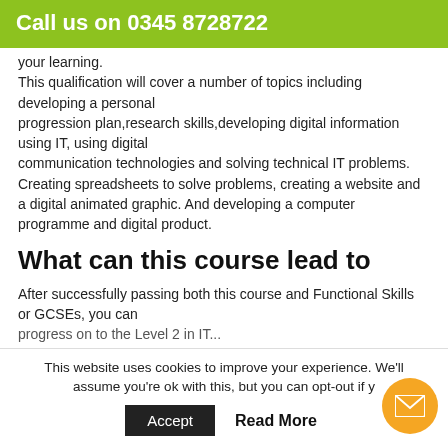Call us on 0345 8728722
your learning. This qualification will cover a number of topics including developing a personal progression plan,research skills,developing digital information using IT, using digital communication technologies and solving technical IT problems. Creating spreadsheets to solve problems, creating a website and a digital animated graphic. And developing a computer programme and digital product.
What can this course lead to
After successfully passing both this course and Functional Skills or GCSEs, you can progress on to the Level 2 in IT.
This website uses cookies to improve your experience. We'll assume you're ok with this, but you can opt-out if you wish.